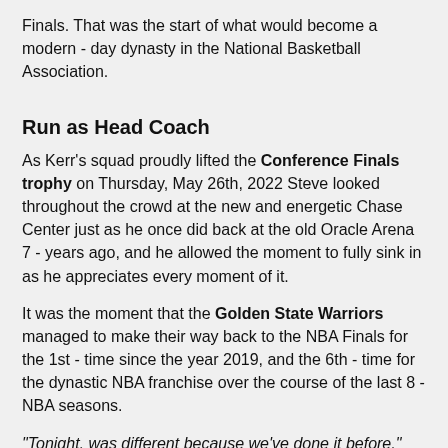Finals. That was the start of what would become a modern - day dynasty in the National Basketball Association.
Run as Head Coach
As Kerr's squad proudly lifted the Conference Finals trophy on Thursday, May 26th, 2022 Steve looked throughout the crowd at the new and energetic Chase Center just as he once did back at the old Oracle Arena 7 - years ago, and he allowed the moment to fully sink in as he appreciates every moment of it.
It was the moment that the Golden State Warriors managed to make their way back to the NBA Finals for the 1st - time since the year 2019, and the 6th - time for the dynastic NBA franchise over the course of the last 8 - NBA seasons.
"Tonight, was different because we've done it before," the Golden State Warriors head coach Steve Kerr explained. "But t... different... ll... t... didn't... f... b... t...